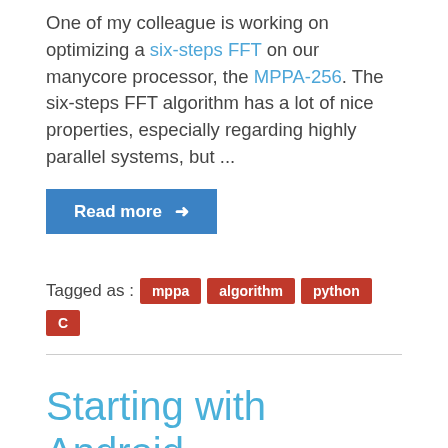One of my colleague is working on optimizing a six-steps FFT on our manycore processor, the MPPA-256. The six-steps FFT algorithm has a lot of nice properties, especially regarding highly parallel systems, but ...
Read more →
Tagged as : mppa algorithm python C
Starting with Android development
Wed 19 August 2015
By Benoît Ganne